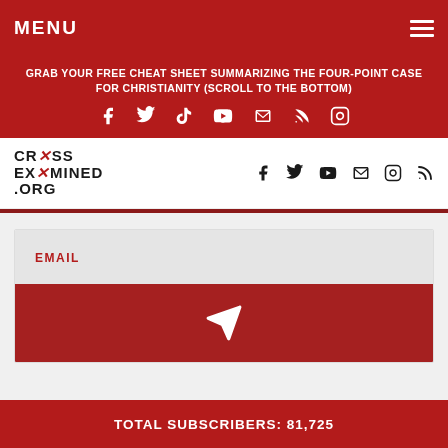MENU
GRAB YOUR FREE CHEAT SHEET SUMMARIZING THE FOUR-POINT CASE FOR CHRISTIANITY (SCROLL TO THE BOTTOM)
[Figure (logo): CrossExamined.org logo with social media icons]
EMAIL
[Figure (infographic): Email subscription form with send button]
TOTAL SUBSCRIBERS: 81,725